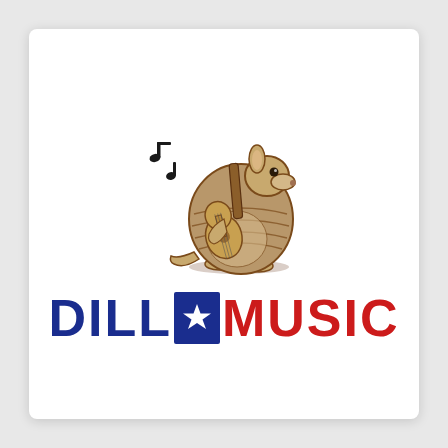[Figure (logo): Dillo Music logo: cartoon armadillo playing an acoustic guitar with musical notes floating to the upper left. Below the illustration, the text 'DILLO MUSIC' in bold uppercase letters. 'DILLO' is in dark navy/blue with the letter O replaced by a navy rectangle containing a white star. 'MUSIC' is in bright red.]